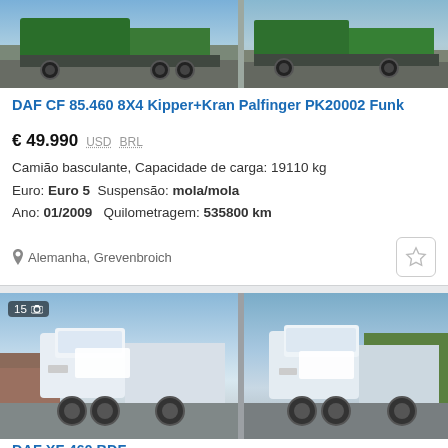[Figure (photo): Two photos of a DAF CF 85.460 dump truck with crane, top portion visible]
DAF CF 85.460 8X4 Kipper+Kran Palfinger PK20002 Funk
€ 49.990  USD  BRL
Camião basculante, Capacidade de carga: 19110 kg
Euro: Euro 5  Suspensão: mola/mola
Ano: 01/2009   Quilometragem: 535800 km
Alemanha, Grevenbroich
[Figure (photo): Two photos of a white DAF XF 460 BDF truck, 15 photos available]
DAF XF 460 BDF